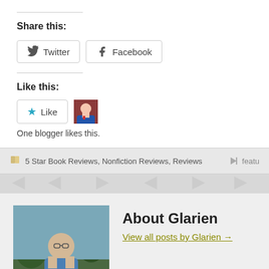Share this:
Twitter  Facebook
Like this:
Like  One blogger likes this.
5 Star Book Reviews, Nonfiction Reviews, Reviews   featu
About Glarien
View all posts by Glarien →